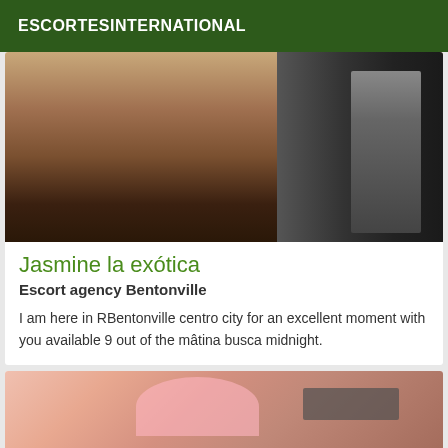ESCORTESINTERNATIONAL
[Figure (photo): Photo showing person's legs near kitchen appliances, dark background with drawers visible on the right]
Jasmine la exótica
Escort agency Bentonville
I am here in RBentonville centro city for an excellent moment with you available 9 out of the mâtina busca midnight.
[Figure (photo): Photo of a person lying down, partial view, pink background]